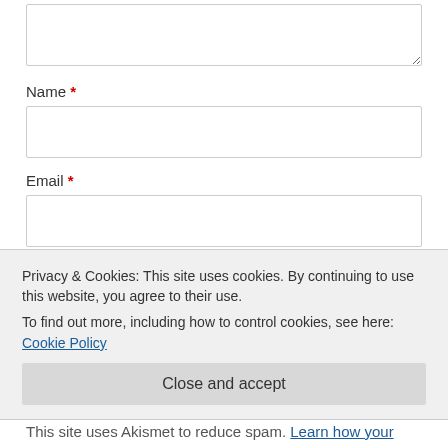[Figure (screenshot): A textarea input box (comment field) with a resize handle at bottom-right corner]
Name *
[Figure (screenshot): Name input text field (empty)]
Email *
[Figure (screenshot): Email input text field (empty)]
Website
[Figure (screenshot): Website input text field (empty)]
Privacy & Cookies: This site uses cookies. By continuing to use this website, you agree to their use.
To find out more, including how to control cookies, see here: Cookie Policy
Close and accept
This site uses Akismet to reduce spam. Learn how your